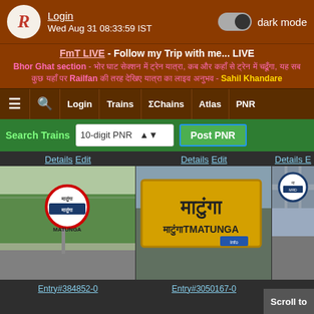Login  Wed Aug 31 08:33:59 IST  dark mode
FmT LIVE - Follow my Trip with me... LIVE
Bhor Ghat section - [Hindi text] Railfan [Hindi text] - Sahil Khandare
☰ 🔍 Login Trains ΣChains Atlas PNR
Search Trains  10-digit PNR  Post PNR
Details Edit
Details Edit
Details E
[Figure (photo): Photo of Matunga railway station sign board - circular diamond-shaped sign with Devanagari and English text MATUNGA]
[Figure (photo): Photo of Matunga station name board - yellow board with large Devanagari text and MATUNGA in English]
[Figure (photo): Partial photo of a railway station with infrastructure]
Entry#384852-0
Entry#3050167-0
Scroll to